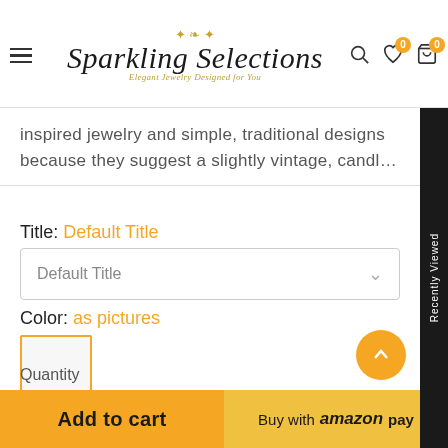Sparkling Selections – Elegant Jewelry Designed for You
inspired jewelry and simple, traditional designs because they suggest a slightly vintage, candl...
Title: Default Title
Default Title (dropdown)
Color: as pictures
Quantity
Add to cart
Buy with amazon pay